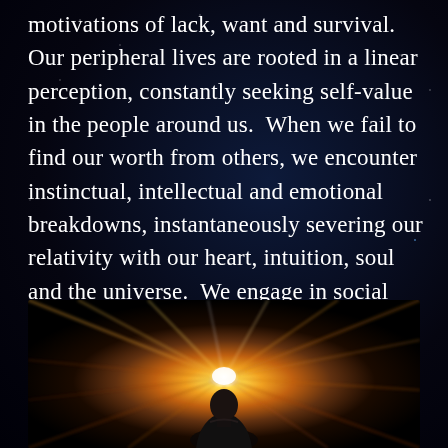motivations of lack, want and survival.  Our peripheral lives are rooted in a linear perception, constantly seeking self-value in the people around us.  When we fail to find our worth from others, we encounter instinctual, intellectual and emotional breakdowns, instantaneously severing our relativity with our heart, intuition, soul and the universe.  We engage in social reality, perceiving it as the path of least resistance.  Yet, it diminishes our potential to create, establish, express, manifest and sustain our personal truth.
[Figure (photo): A person seen from behind facing a radial burst of colorful light (yellows, oranges, whites) emanating from the center, against a dark background — suggesting a cosmic or spiritual portal.]